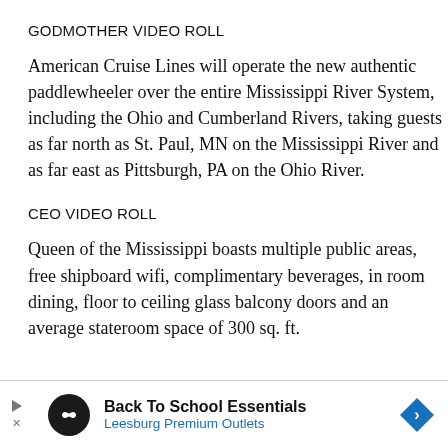GODMOTHER VIDEO ROLL
American Cruise Lines will operate the new authentic paddlewheeler over the entire Mississippi River System, including the Ohio and Cumberland Rivers, taking guests as far north as St. Paul, MN on the Mississippi River and as far east as Pittsburgh, PA on the Ohio River.
CEO VIDEO ROLL
Queen of the Mississippi boasts multiple public areas, free shipboard wifi, complimentary beverages, in room dining, floor to ceiling glass balcony doors and an average stateroom space of 300 sq. ft.
[Figure (other): Advertisement banner for Back To School Essentials at Leesburg Premium Outlets with infinity symbol logo and blue diamond arrow icon]